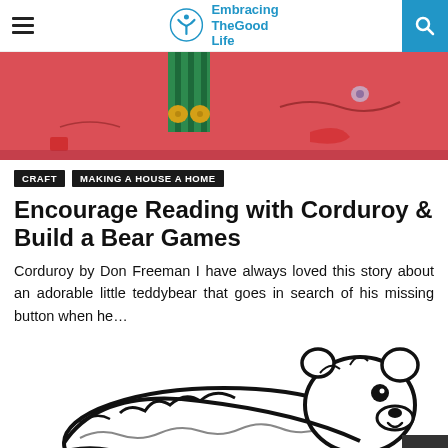Embracing TheGood Life
[Figure (photo): Colorful illustration of Corduroy bear character, red background with green jacket and yellow buttons]
CRAFT
MAKING A HOUSE A HOME
Encourage Reading with Corduroy & Build a Bear Games
Corduroy by Don Freeman I have always loved this story about an adorable little teddybear that goes in search of his missing button when he…
[Figure (illustration): Black and white line drawing of a bear (Corduroy style), large cartoon bear outline]